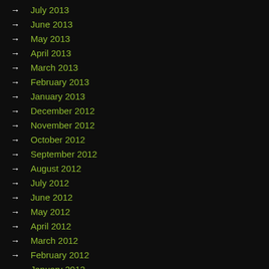→ July 2013
→ June 2013
→ May 2013
→ April 2013
→ March 2013
→ February 2013
→ January 2013
→ December 2012
→ November 2012
→ October 2012
→ September 2012
→ August 2012
→ July 2012
→ June 2012
→ May 2012
→ April 2012
→ March 2012
→ February 2012
→ January 2012
→ December 2011